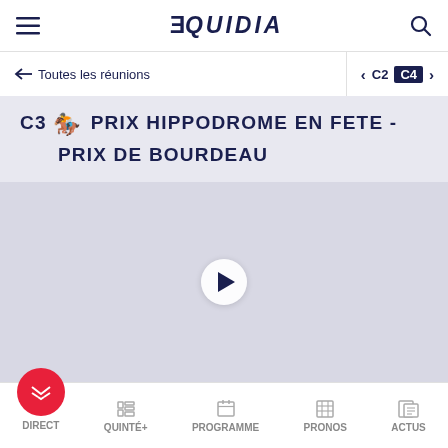EQUIDIA
← Toutes les réunions   < C2  C4 >
C3 🏇 PRIX HIPPODROME EN FETE - PRIX DE BOURDEAU
[Figure (screenshot): Video player area with play button on light blue-grey background]
play  arrow  picture  volume  fullscreen  ert
DIRECT  QUINTÉ+  PROGRAMME  PRONOS  ACTUS